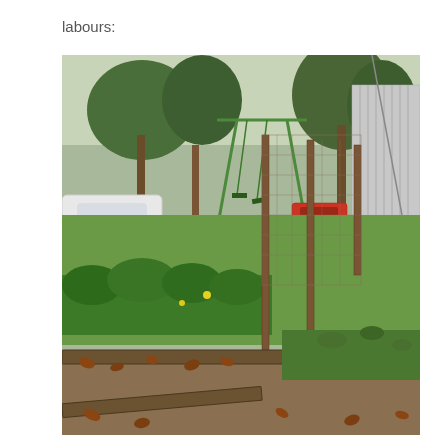labours:
[Figure (photo): Outdoor backyard garden scene showing a fenced vegetable garden area with wire mesh fencing supported by wooden/metal posts. Green lawn surrounds the garden. In the background there is a child's swing set, trees, a white car, a metal barn or shed on the right, and a red vehicle. The foreground shows garden beds bordered by wooden planks with fallen brown leaves scattered around.]